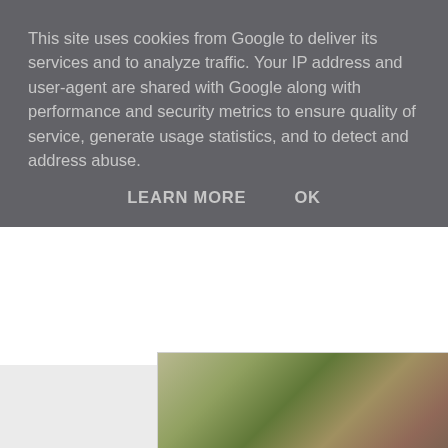This site uses cookies from Google to deliver its services and to analyze traffic. Your IP address and user-agent are shared with Google along with performance and security metrics to ensure quality of service, generate usage statistics, and to detect and address abuse.
LEARN MORE   OK
[Figure (photo): Partial view of a food or craft arrangement with green and white elements in a basket/bowl, partially obscured by cookie consent banner]
Lastly I glued on the paper roses, spacing th
[Figure (photo): Partial view of a craft item showing red knitted or fabric material with cream/beige decorative elements, on a light blue/white background]